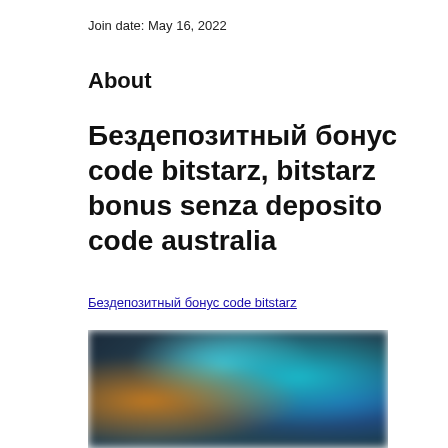Join date: May 16, 2022
About
Бездепозитный бонус code bitstarz, bitstarz bonus senza deposito code australia
Бездепозитный бонус code bitstarz
[Figure (photo): Blurred casino game screenshot with colorful characters and teal/blue background]